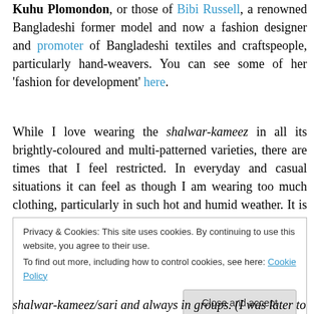Kuhu Plomondon, or those of Bibi Russell, a renowned Bangladeshi former model and now a fashion designer and promoter of Bangladeshi textiles and craftspeople, particularly hand-weavers. You can see some of her 'fashion for development' here.
While I love wearing the shalwar-kameez in all its brightly-coloured and multi-patterned varieties, there are times that I feel restricted. In everyday and casual situations it can feel as though I am wearing too much clothing, particularly in such hot and humid weather. It is not the kind of attire
Privacy & Cookies: This site uses cookies. By continuing to use this website, you agree to their use. To find out more, including how to control cookies, see here: Cookie Policy
shalwar-kameez/sari and always in groups. (I was later to